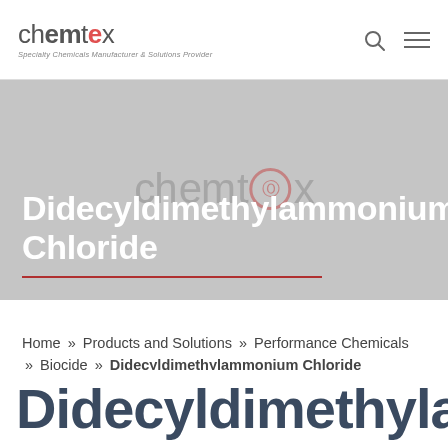[Figure (logo): Chemtex logo with tagline 'Specialty Chemicals Manufacturer & Solutions Provider']
Didecyldimethylammonium Chloride
Home » Products and Solutions » Performance Chemicals » Biocide » Didecyldimethylammonium Chloride
Didecyldimethylamm